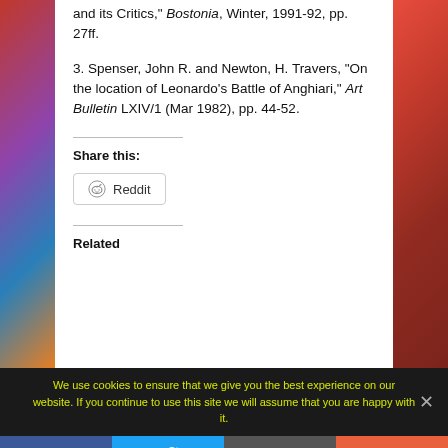and its Critics,” Bostonia, Winter, 1991-92, pp. 27ff.
3. Spenser, John R. and Newton, H. Travers, “On the location of Leonardo’s Battle of Anghiari,” Art Bulletin LXIV/1 (Mar 1982), pp. 44-52.
Share this:
[Figure (other): Reddit share button with Reddit alien icon]
Related
We use cookies to ensure that we give you the best experience on our website. If you continue to use this site we will assume that you are happy with it.
[Figure (other): Social sharing bar with Facebook, Twitter, Email, and Plus buttons]